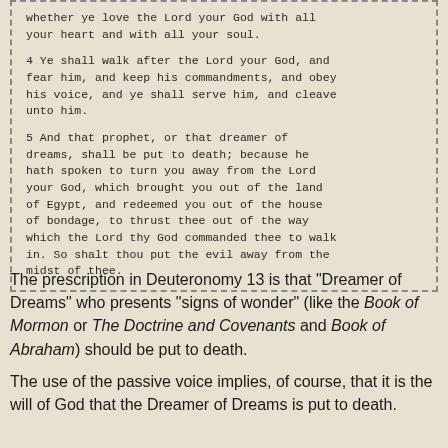whether ye love the Lord your God with all your heart and with all your soul.

4 Ye shall walk after the Lord your God, and fear him, and keep his commandments, and obey his voice, and ye shall serve him, and cleave unto him.

5 And that prophet, or that dreamer of dreams, shall be put to death; because he hath spoken to turn you away from the Lord your God, which brought you out of the land of Egypt, and redeemed you out of the house of bondage, to thrust thee out of the way which the Lord thy God commanded thee to walk in. So shalt thou put the evil away from the midst of thee.
The prescription in Deuteronomy 13 is that "Dreamer of Dreams" who presents "signs of wonder" (like the Book of Mormon or The Doctrine and Covenants and Book of Abraham) should be put to death.
The use of the passive voice implies, of course, that it is the will of God that the Dreamer of Dreams is put to death.